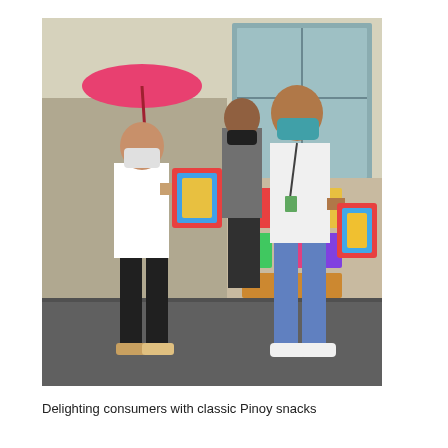[Figure (photo): Outdoor scene showing two people wearing face masks exchanging colorful snack packages. One person on the left wears a white shirt, black pants, and holds a pink umbrella. A man on the right wears a white shirt with a lanyard and jeans. In the background, another person in a grey shirt and black mask stands near shelves of packaged goods.]
Delighting consumers with classic Pinoy snacks